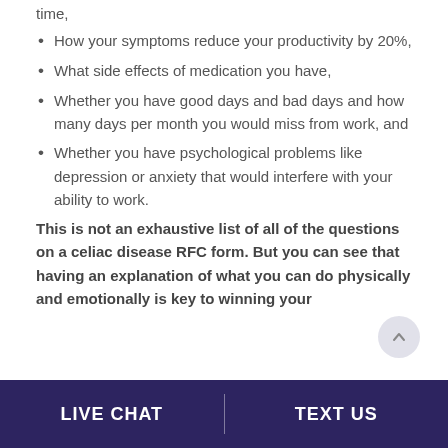time,
How your symptoms reduce your productivity by 20%,
What side effects of medication you have,
Whether you have good days and bad days and how many days per month you would miss from work, and
Whether you have psychological problems like depression or anxiety that would interfere with your ability to work.
This is not an exhaustive list of all of the questions on a celiac disease RFC form. But you can see that having an explanation of what you can do physically and emotionally is key to winning your
LIVE CHAT   TEXT US